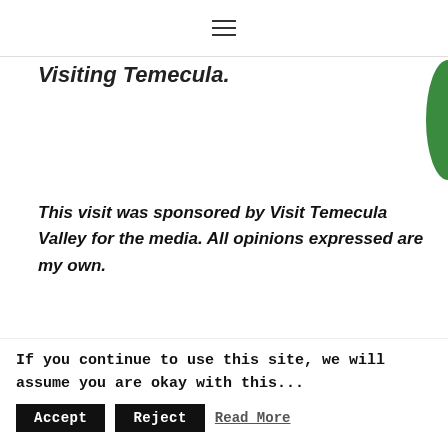≡ (hamburger menu icon)
Visiting Temecula.
This visit was sponsored by Visit Temecula Valley for the media. All opinions expressed are my own.
Sharing is caring!
If you continue to use this site, we will assume you are okay with this...
Accept  Reject  Read More